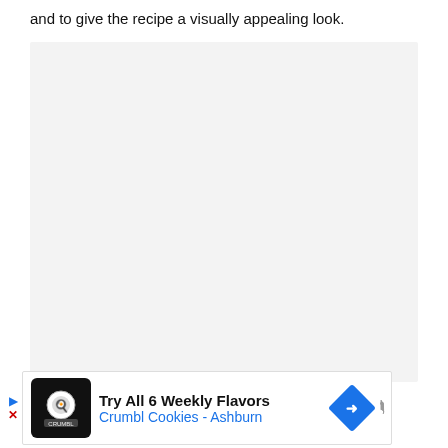and to give the recipe a visually appealing look.
[Figure (photo): Large light gray placeholder image area]
[Figure (infographic): Advertisement banner: Try All 6 Weekly Flavors - Crumbl Cookies - Ashburn, with cookie logo icon and blue navigation arrow]